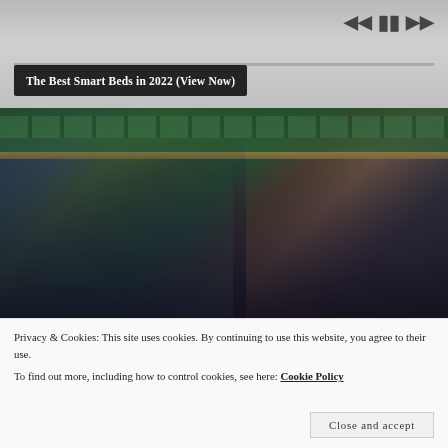[Figure (screenshot): Video player bar with playback controls (skip back, pause, skip forward) and a progress bar. A dark overlay banner reads 'The Best Smart Beds in 2022 (View Now)'.]
[Figure (photo): Photograph of two people wearing sunglasses seated in green stadium seats, likely at a tennis event.]
Privacy & Cookies: This site uses cookies. By continuing to use this website, you agree to their use.
To find out more, including how to control cookies, see here: Cookie Policy
Close and accept